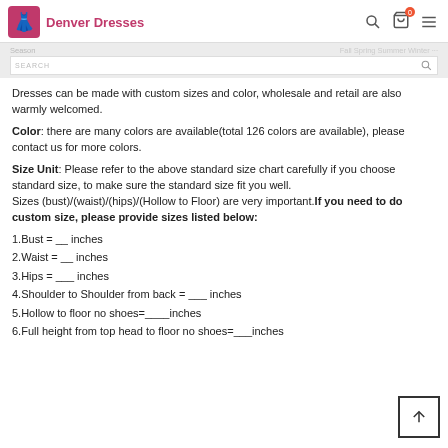Denver Dresses
Dresses can be made with custom sizes and color, wholesale and retail are also warmly welcomed.
Color: there are many colors are available(total 126 colors are available), please contact us for more colors.
Size Unit: Please refer to the above standard size chart carefully if you choose standard size, to make sure the standard size fit you well.
Sizes (bust)/(waist)/(hips)/(Hollow to Floor) are very important.If you need to do custom size, please provide sizes listed below:
1.Bust = __ inches
2.Waist = __ inches
3.Hips = ___ inches
4.Shoulder to Shoulder from back = ___ inches
5.Hollow to floor no shoes=____inches
6.Full height from top head to floor no shoes=___inches